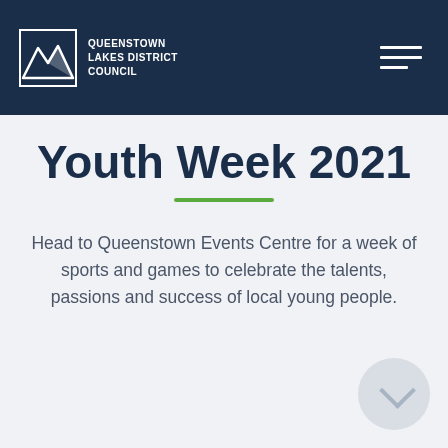Queenstown Lakes District Council
Youth Week 2021
Head to Queenstown Events Centre for a week of sports and games to celebrate the talents, passions and success of local young people.